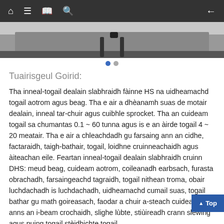Navigation bar with home, menu, book, search icons and back arrow
[Figure (photo): Partial image of industrial chain hoist equipment, cropped at top]
Tuairisgeul Goirid:
Tha inneal-togail dealain slabhraidh fàinne HS na uidheamachd togail aotrom agus beag. Tha e air a dhèanamh suas de motair dealain, inneal tar-chuir agus cuibhle sprocket. Tha an cuideam togail sa chumantas 0.1 ~ 60 tunna agus is e an àirde togail 4 ~ 20 meatair. Tha e air a chleachdadh gu farsaing ann an cidhe, factaraidh, taigh-bathair, togail, loidhne cruinneachaidh agus àiteachan eile. Feartan inneal-togail dealain slabhraidh cruinn DHS: meud beag, cuideam aotrom, coileanadh earbsach, furasta obrachadh, farsaingeachd tagraidh, togail nithean troma, obair luchdachadh is luchdachadh, uidheamachd cumail suas, togail bathar gu math goireasach, faodar a chuir a-steach cuideachd anns an i-beam crochaidh, slighe lùbte, stiùireadh crann slewing agus puing togail stèidhichte togail.
Inneal-togail dealain slabhraidh fàinne seòrsa DHS uile a rèir an